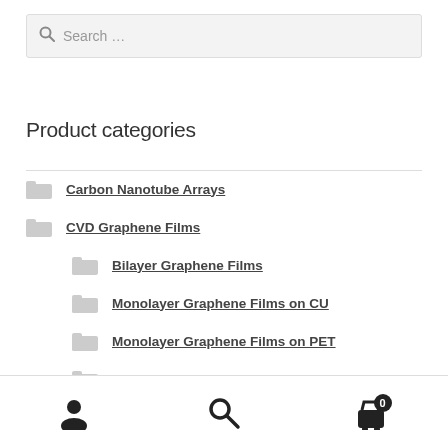Search …
Product categories
Carbon Nanotube Arrays
CVD Graphene Films
Bilayer Graphene Films
Monolayer Graphene Films on CU
Monolayer Graphene Films on PET
Monolayer Graphene Films on Quartz